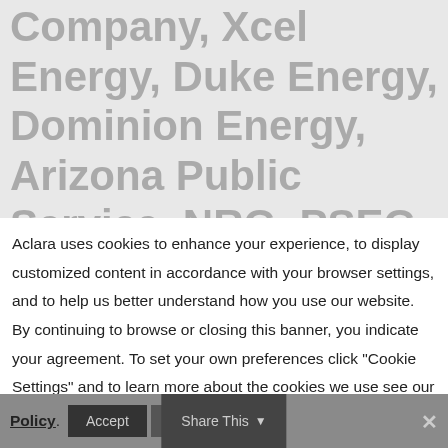Company, Xcel Energy, Duke Energy, Dominion Energy, Arizona Public Service, NRG, PSEG, and Consumers Energy committing recently to net-zero carbon goals. Today, the NRDC
Aclara uses cookies to enhance your experience, to display customized content in accordance with your browser settings, and to help us better understand how you use our website. By continuing to browse or closing this banner, you indicate your agreement. To set your own preferences click "Cookie Settings" and to learn more about the cookies we use see our Privacy Policy.
Accept
Reject
Share This
×